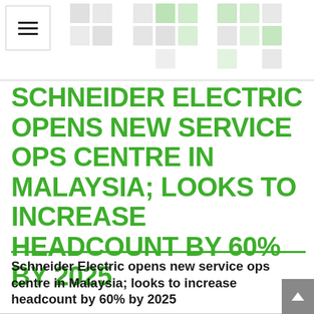SCHNEIDER ELECTRIC OPENS NEW SERVICE OPS CENTRE IN MALAYSIA; LOOKS TO INCREASE HEADCOUNT BY 60% BY 2025
Schneider Electric opens new service ops centre in Malaysia; looks to increase headcount by 60% by 2025